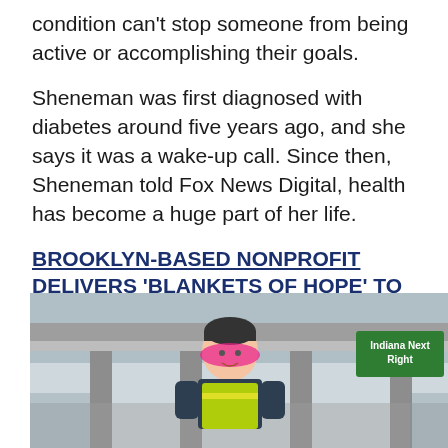condition can't stop someone from being active or accomplishing their goals.
Sheneman was first diagnosed with diabetes around five years ago, and she says it was a wake-up call. Since then, Sheneman told Fox News Digital, health has become a huge part of her life.
BROOKLYN-BASED NONPROFIT DELIVERS 'BLANKETS OF HOPE' TO PEOPLE IN NEED
What she realized while battling this condition, though, is that a lot of people weren't aware of what she went through on a daily basis.
[Figure (photo): Woman with pink hair wearing a yellow safety vest, smiling, standing in front of a highway overpass/bridge structure. A green highway sign reading 'Indiana Next Right' is visible in the background.]